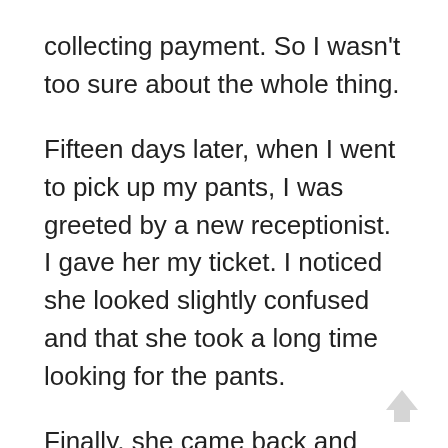collecting payment. So I wasn't too sure about the whole thing.
Fifteen days later, when I went to pick up my pants, I was greeted by a new receptionist. I gave her my ticket. I noticed she looked slightly confused and that she took a long time looking for the pants.
Finally, she came back and told me she couldn't find anything, neither the fabric nor the pants, that she was very sorry but that the person who had filled out the order had been detained for stealing fabrics and garments from customers. “I